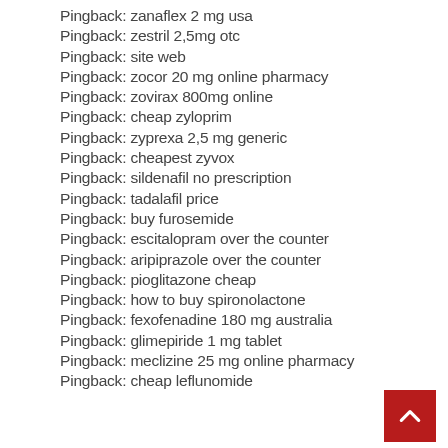Pingback: zanaflex 2 mg usa
Pingback: zestril 2,5mg otc
Pingback: site web
Pingback: zocor 20 mg online pharmacy
Pingback: zovirax 800mg online
Pingback: cheap zyloprim
Pingback: zyprexa 2,5 mg generic
Pingback: cheapest zyvox
Pingback: sildenafil no prescription
Pingback: tadalafil price
Pingback: buy furosemide
Pingback: escitalopram over the counter
Pingback: aripiprazole over the counter
Pingback: pioglitazone cheap
Pingback: how to buy spironolactone
Pingback: fexofenadine 180 mg australia
Pingback: glimepiride 1 mg tablet
Pingback: meclizine 25 mg online pharmacy
Pingback: cheap leflunomide